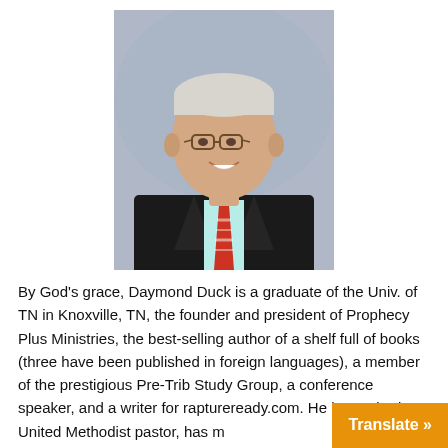[Figure (photo): Professional headshot of Daymond Duck, an older man with glasses, gray-white hair, wearing a dark suit jacket, light blue dress shirt, and red striped tie, against a gray background.]
By God's grace, Daymond Duck is a graduate of the Univ. of TN in Knoxville, TN, the founder and president of Prophecy Plus Ministries, the best-selling author of a shelf full of books (three have been published in foreign languages), a member of the prestigious Pre-Trib Study Group, a conference speaker, and a writer for raptureready.com. He is a retired United Methodist pastor, has m